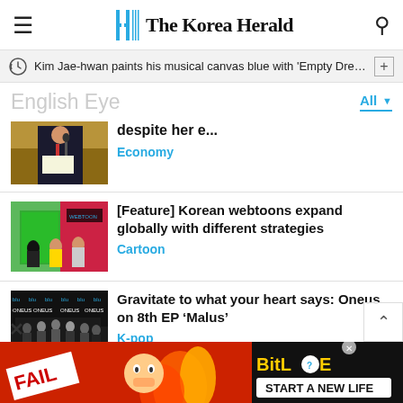The Korea Herald
Kim Jae-hwan paints his musical canvas blue with 'Empty Dream'
English Eye
[Figure (photo): Partial photo of a man in suit at a podium]
despite her e...
Economy
[Figure (photo): Korean webtoons event with people at a green display]
[Feature] Korean webtoons expand globally with different strategies
Cartoon
[Figure (photo): Oneus K-pop group press photo on checkered background]
Gravitate to what your heart says: Oneus on 8th EP ‘Malus’
K-pop
[Figure (other): BitLife advertisement banner - FAIL START A NEW LIFE]